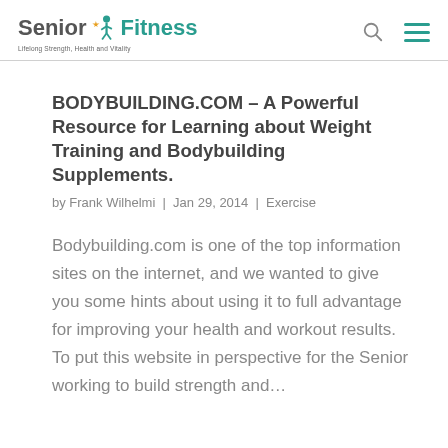Senior Fitness — Lifelong Strength, Health and Vitality
BODYBUILDING.COM – A Powerful Resource for Learning about Weight Training and Bodybuilding Supplements.
by Frank Wilhelmi | Jan 29, 2014 | Exercise
Bodybuilding.com is one of the top information sites on the internet, and we wanted to give you some hints about using it to full advantage for improving your health and workout results. To put this website in perspective for the Senior working to build strength and...